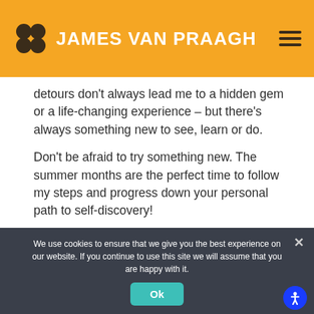JAMES VAN PRAAGH
detours don't always lead me to a hidden gem or a life-changing experience – but there's always something new to see, learn or do.
Don't be afraid to try something new. The summer months are the perfect time to follow my steps and progress down your personal path to self-discovery!
← Previous article
Next article →
We use cookies to ensure that we give you the best experience on our website. If you continue to use this site we will assume that you are happy with it.